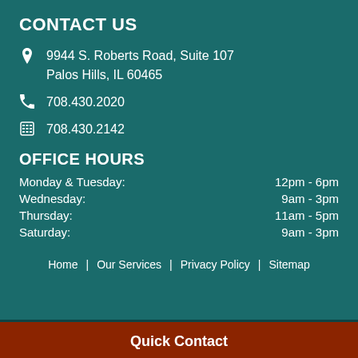CONTACT US
9944 S. Roberts Road, Suite 107
Palos Hills, IL 60465
708.430.2020
708.430.2142
OFFICE HOURS
Monday & Tuesday:    12pm - 6pm
Wednesday:    9am - 3pm
Thursday:    11am - 5pm
Saturday:    9am - 3pm
Home  |  Our Services  |  Privacy Policy  |  Sitemap
Quick Contact